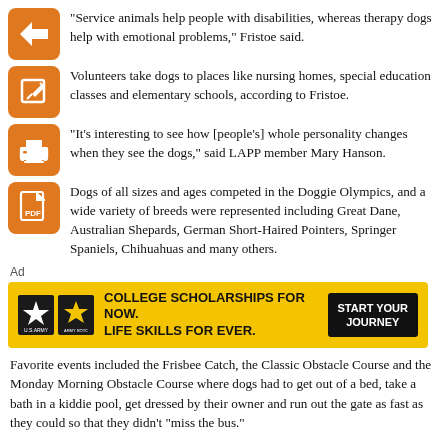"Service animals help people with disabilities, whereas therapy dogs help with emotional problems," Fristoe said.
Volunteers take dogs to places like nursing homes, special education classes and elementary schools, according to Fristoe.
"It's interesting to see how [people's] whole personality changes when they see the dogs," said LAPP member Mary Hanson.
Dogs of all sizes and ages competed in the Doggie Olympics, and a wide variety of breeds were represented including Great Dane, Australian Shepards, German Short-Haired Pointers, Springer Spaniels, Chihuahuas and many others.
Ad
[Figure (other): US Army advertisement banner: COLLEGE SCHOLARSHIPS FOR NOW. LIFE SKILLS FOR EVER. START YOUR JOURNEY]
Favorite events included the Frisbee Catch, the Classic Obstacle Course and the Monday Morning Obstacle Course where dogs had to get out of a bed, take a bath in a kiddie pool, get dressed by their owner and run out the gate as fast as they could so that they didn’t “miss the bus.”